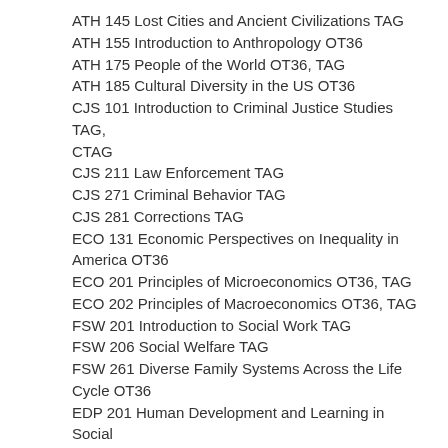ATH 145 Lost Cities and Ancient Civilizations TAG
ATH 155 Introduction to Anthropology OT36
ATH 175 People of the World OT36, TAG
ATH 185 Cultural Diversity in the US OT36
CJS 101 Introduction to Criminal Justice Studies TAG, CTAG
CJS 211 Law Enforcement TAG
CJS 271 Criminal Behavior TAG
CJS 281 Corrections TAG
ECO 131 Economic Perspectives on Inequality in America OT36
ECO 201 Principles of Microeconomics OT36, TAG
ECO 202 Principles of Macroeconomics OT36, TAG
FSW 201 Introduction to Social Work TAG
FSW 206 Social Welfare TAG
FSW 261 Diverse Family Systems Across the Life Cycle OT36
EDP 201 Human Development and Learning in Social and Educational Contexts OT36
GEO 101 Global Forces, Local Diversity OT36, TAG
GEO 441 Geographic Information Systems TAG